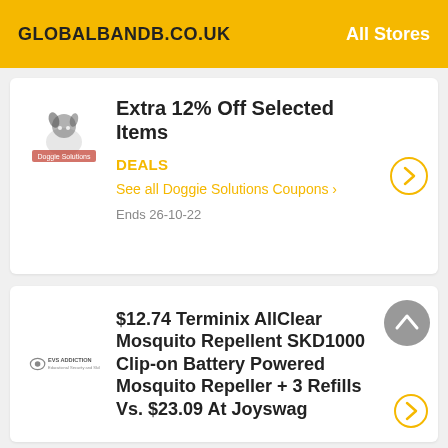GLOBALBANDB.CO.UK   All Stores
Extra 12% Off Selected Items
DEALS
See all Doggie Solutions Coupons >
Ends 26-10-22
$12.74 Terminix AllClear Mosquito Repellent SKD1000 Clip-on Battery Powered Mosquito Repeller + 3 Refills Vs. $23.09 At Joyswag